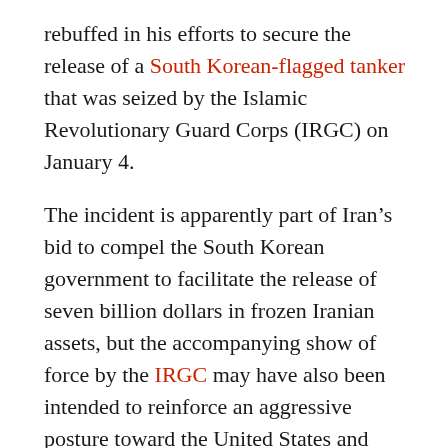rebuffed in his efforts to secure the release of a South Korean-flagged tanker that was seized by the Islamic Revolutionary Guard Corps (IRGC) on January 4.
The incident is apparently part of Iran's bid to compel the South Korean government to facilitate the release of seven billion dollars in frozen Iranian assets, but the accompanying show of force by the IRGC may have also been intended to reinforce an aggressive posture toward the United States and other leading adversaries.
This latter motive was on display in other developments that coincided with Tehran's public rejection of negotiations that might facilitate the